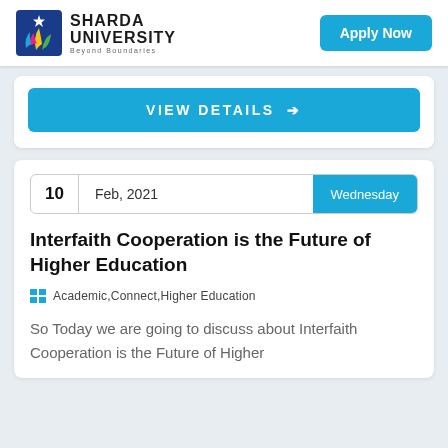[Figure (logo): Sharda University logo with colorful leaf/flame icon and text 'SHARDA UNIVERSITY Beyond Boundaries']
Apply Now
VIEW DETAILS →
10  Feb, 2021  Wednesday
Interfaith Cooperation is the Future of Higher Education
Academic,Connect,Higher Education
So Today we are going to discuss about Interfaith Cooperation is the Future of Higher